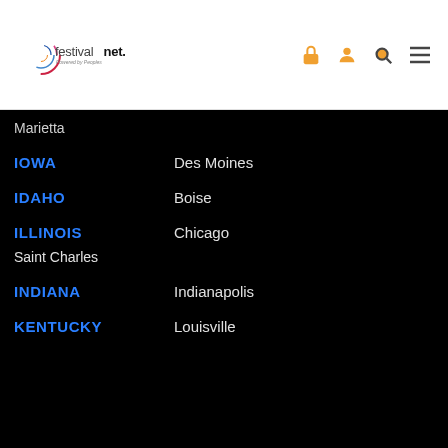[Figure (logo): FestivalNet logo with colorful circular graphic, text 'festivalnet.' and 'Powered by Peoples' below]
[Figure (infographic): Navigation icons: lock, person, search, and hamburger menu in orange]
Marietta
IOWA   Des Moines
IDAHO   Boise
ILLINOIS   Chicago
Saint Charles
INDIANA   Indianapolis
KENTUCKY   Louisville